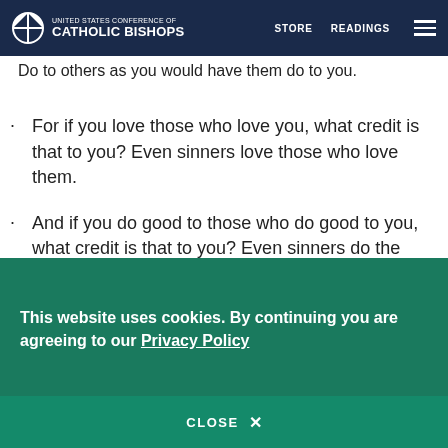UNITED STATES CONFERENCE OF CATHOLIC BISHOPS | STORE | READINGS
who takes what is yours do not demand it back. Do to others as you would have them do to you.
For if you love those who love you, what credit is that to you? Even sinners love those who love them.
And if you do good to those who do good to you, what credit is that to you? Even sinners do the same.
If you lend money to those from whom you expect repayment, what credit [is] that to you? Even sinners lend to sinners, and get back the same amount.
This website uses cookies. By continuing you are agreeing to our Privacy Policy
CLOSE X